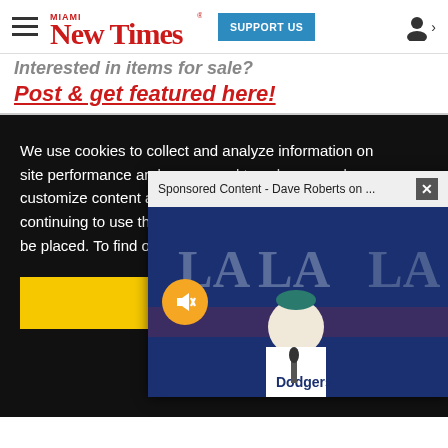Miami New Times | SUPPORT US
Interested in items for sale?
Post & get featured here!
We use cookies to collect and analyze information on site performance and usage, and to enhance and customize content and advertisements. By continuing to use the site, you agree to allow cookies to be placed. To find out more, visit our cookies policy a…
Got it!
Sponsored Content - Dave Roberts on ...